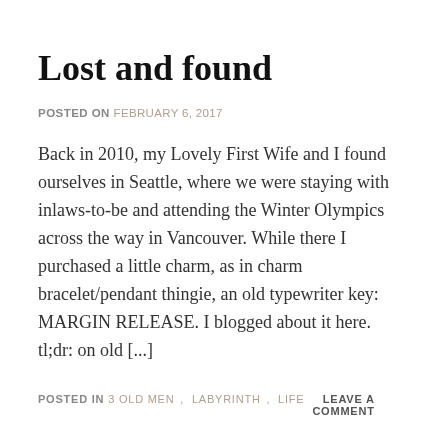Lost and found
POSTED ON FEBRUARY 6, 2017
Back in 2010, my Lovely First Wife and I found ourselves in Seattle, where we were staying with inlaws-to-be and attending the Winter Olympics across the way in Vancouver. While there I purchased a little charm, as in charm bracelet/pendant thingie, an old typewriter key: MARGIN RELEASE. I blogged about it here. tl;dr: on old [...]
POSTED IN 3 OLD MEN , LABYRINTH , LIFE LEAVE A COMMENT